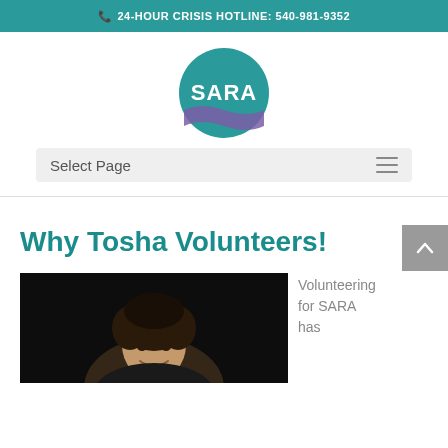24-HOUR CRISIS HOTLINE: 540-981-9352
[Figure (logo): SARA circular logo with teal background and white text, purple wave design at bottom]
Select Page
Why Tosha Volunteers!
[Figure (photo): Photo of a smiling young woman with dark hair against a black background]
Volunteering for SARA has